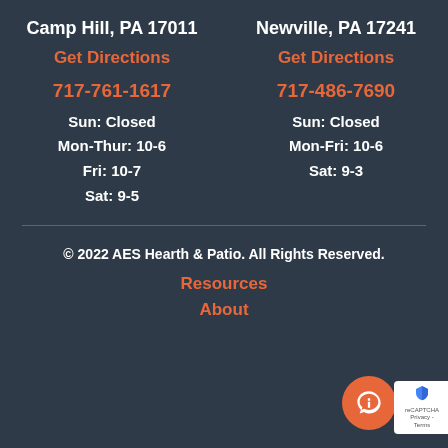Camp Hill, PA 17011
Newville, PA 17241
Get Directions
Get Directions
717-761-1617
717-486-7690
Sun: Closed
Mon-Thur: 10-6
Fri: 10-7
Sat: 9-5
Sun: Closed
Mon-Fri: 10-6
Sat: 9-3
© 2022 AES Hearth & Patio. All Rights Reserved.
Resources
About